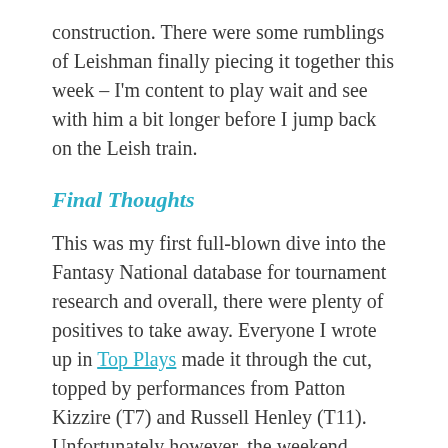construction. There were some rumblings of Leishman finally piecing it together this week – I'm content to play wait and see with him a bit longer before I jump back on the Leish train.
Final Thoughts
This was my first full-blown dive into the Fantasy National database for tournament research and overall, there were plenty of positives to take away. Everyone I wrote up in Top Plays made it through the cut, topped by performances from Patton Kizzire (T7) and Russell Henley (T11). Unfortunately however, the weekend really was not kind to any of them. Bombs & Values were a mixed bag, riddled with low-priced players who missed the cut on the number and other